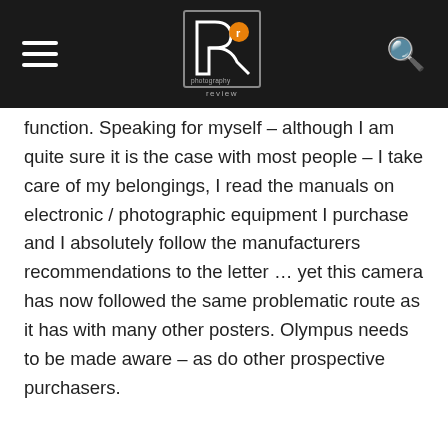[Figure (logo): Photography Review website header navigation bar with hamburger menu, Photography Review logo, and search icon on black background]
function. Speaking for myself – although I am quite sure it is the case with most people – I take care of my belongings, I read the manuals on electronic / photographic equipment I purchase and I absolutely follow the manufacturers recommendations to the letter … yet this camera has now followed the same problematic route as it has with many other posters. Olympus needs to be made aware – as do other prospective purchasers.
rich
January 22, 2012
I've had an older 8 mp version of this for almost 4 years now and it finally bit the dust. Not sure exactly how it leaked but there was water in the battery door. I dried it out and the camera works fine but the lens is murky now so its basically useless. I'm going to try to wash it in distilled water or alcohol to see if it will clear